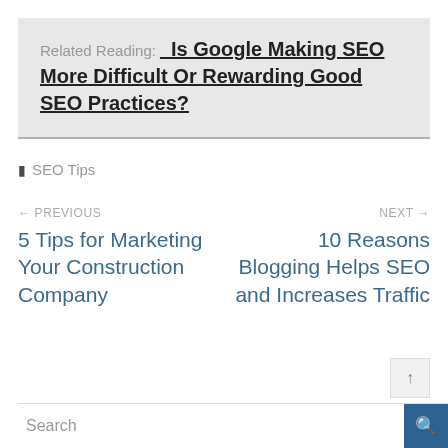Related Reading: Is Google Making SEO More Difficult Or Rewarding Good SEO Practices?
SEO Tips
← PREVIOUS
5 Tips for Marketing Your Construction Company
NEXT →
10 Reasons Blogging Helps SEO and Increases Traffic
Search